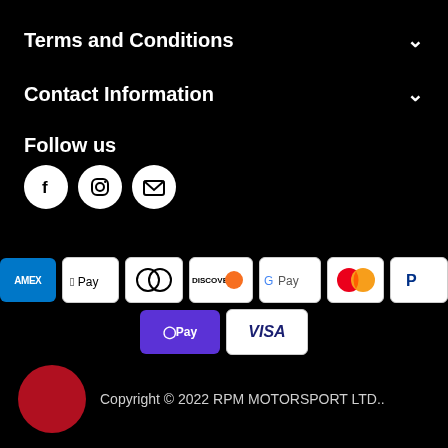Terms and Conditions
Contact Information
Follow us
[Figure (infographic): Three social media icon circles: Facebook (f), Instagram (camera), Email (envelope)]
[Figure (infographic): Payment method icons: AMEX, Apple Pay, Diners Club, Discover, Google Pay, Mastercard, PayPal, O Pay, VISA]
Copyright © 2022 RPM MOTORSPORT LTD..